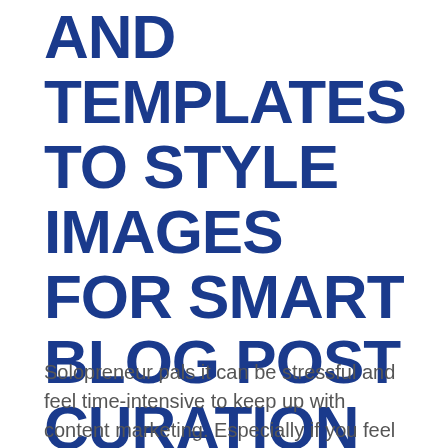AND TEMPLATES TO STYLE IMAGES FOR SMART BLOG POST CURATION
Solopreneur pals it can be stressful and feel time-intensive to keep up with content marketing. Especially if you feel